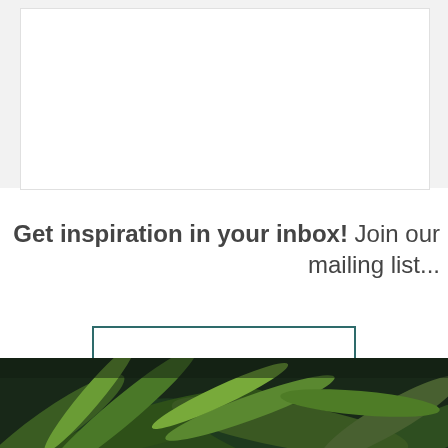[Figure (photo): White card area on light gray background (top section)]
Get inspiration in your inbox!  Join our mailing list...
YES PLEASE!
[Figure (photo): Dark tropical foliage photograph — green palm leaves on dark background]